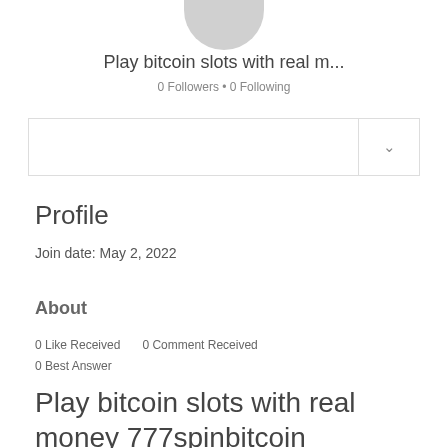[Figure (illustration): Gray circular avatar image, partially cropped at the top]
Play bitcoin slots with real m...
0 Followers • 0 Following
Profile
Join date: May 2, 2022
About
0 Like Received   0 Comment Received
0 Best Answer
Play bitcoin slots with real money 777spinbitcoin